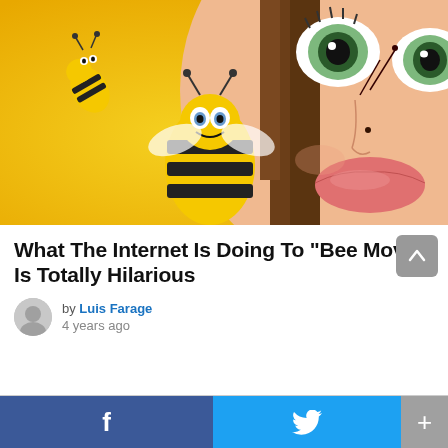[Figure (illustration): Bee Movie promotional image showing animated bees and a close-up of a cartoon girl's face with large green eyes and pink lips, yellow background]
What The Internet Is Doing To “Bee Movie” Is Totally Hilarious
by Luis Farage
4 years ago